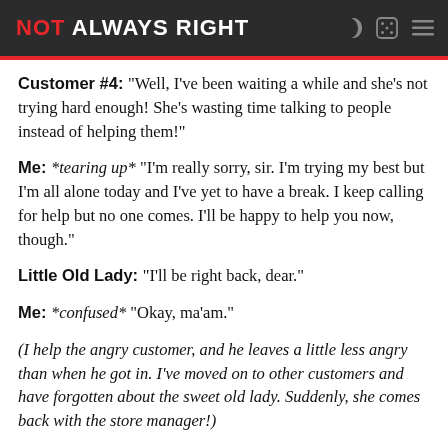NOT ALWAYS RIGHT
Customer #4: “Well, I’ve been waiting a while and she’s not trying hard enough! She’s wasting time talking to people instead of helping them!”
Me: *tearing up* “I’m really sorry, sir. I’m trying my best but I’m all alone today and I’ve yet to have a break. I keep calling for help but no one comes. I’ll be happy to help you now, though.”
Little Old Lady: “I’ll be right back, dear.”
Me: *confused* “Okay, ma’am.”
(I help the angry customer, and he leaves a little less angry than when he got in. I’ve moved on to other customers and have forgotten about the sweet old lady. Suddenly, she comes back with the store manager!)